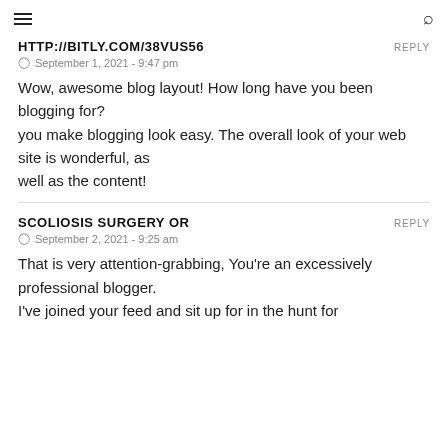≡  🔍
HTTP://BITLY.COM/38VUS56
September 1, 2021 - 9:47 pm
Wow, awesome blog layout! How long have you been blogging for? you make blogging look easy. The overall look of your web site is wonderful, as well as the content!
SCOLIOSIS SURGERY OR
September 2, 2021 - 9:25 am
That is very attention-grabbing, You're an excessively professional blogger. I've joined your feed and sit up for in the hunt for